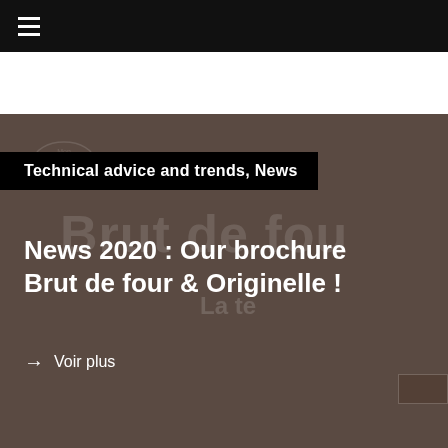☰ (hamburger menu)
[Figure (illustration): Hero image with dark brown background showing a blurred 'Brut de four' watermark text and a faint logo watermark, used as a promotional banner for a news article about a 2020 brochure.]
Technical advice and trends, News
News 2020 : Our brochure Brut de four & Originelle !
→ Voir plus